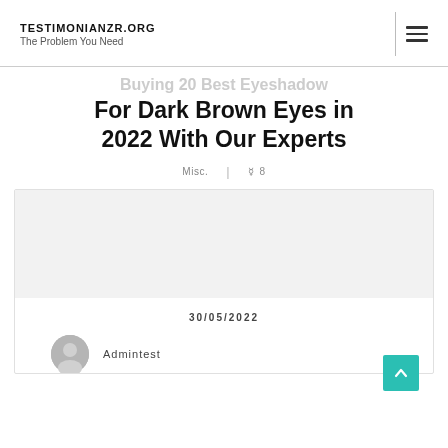TESTIMONIANZR.ORG The Problem You Need
Buying 20 Best Eyeshadow For Dark Brown Eyes in 2022 With Our Experts
Misc. | 👁 8
30/05/2022
Admintest